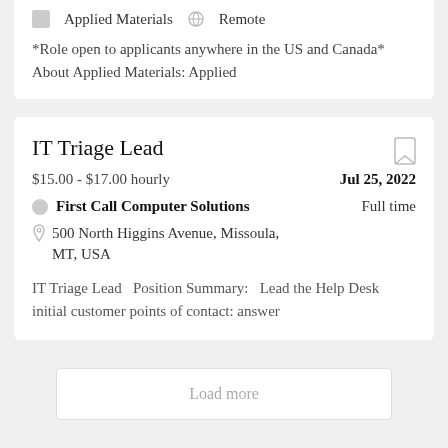Applied Materials   Remote
*Role open to applicants anywhere in the US and Canada*   About Applied Materials: Applied
IT Triage Lead
$15.00 - $17.00 hourly
Jul 25, 2022
First Call Computer Solutions
Full time
500 North Higgins Avenue, Missoula, MT, USA
IT Triage Lead   Position Summary:   Lead the Help Desk initial customer points of contact: answer
Load more